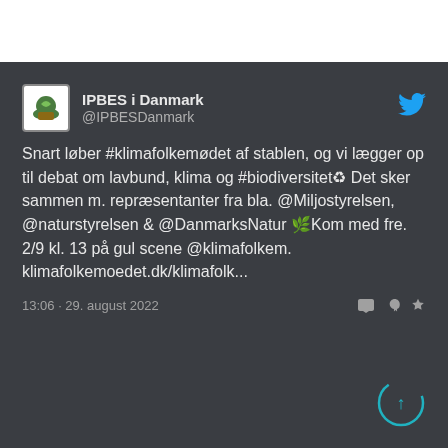[Figure (screenshot): Screenshot of a Twitter/X post by IPBES i Danmark (@IPBESDanmark) dated 13:06 · 29. august 2022, with text about #klimafolkemødet and #biodiversitet event on 2/9 at 13:00 on gul scene.]